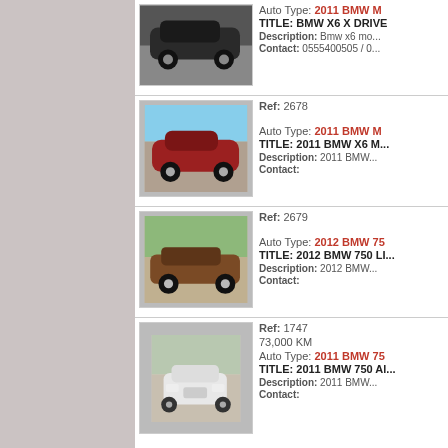[Figure (photo): Black BMW X6 SUV side view in parking area]
Auto Type: 2011 BMW M... | TITLE: BMW X6 X DRIVE | Description: Bmw x6 mo... | Contact: 0555400505 / 0...
[Figure (photo): Red BMW X6 M coupe side/rear view]
Ref: 2678 | Auto Type: 2011 BMW M... | TITLE: 2011 BMW X6 M... | Description: 2011 BMW... | Contact:
[Figure (photo): Brown/bronze BMW 7 Series sedan side view]
Ref: 2679 | Auto Type: 2012 BMW 75... | TITLE: 2012 BMW 750 LI... | Description: 2012 BMW... | Contact:
[Figure (photo): White BMW 7 Series front view in driveway]
Ref: 1747 | 73,000 KM | Auto Type: 2011 BMW 75... | TITLE: 2011 BMW 750 Al... | Description: 2011 BMW... | Contact: